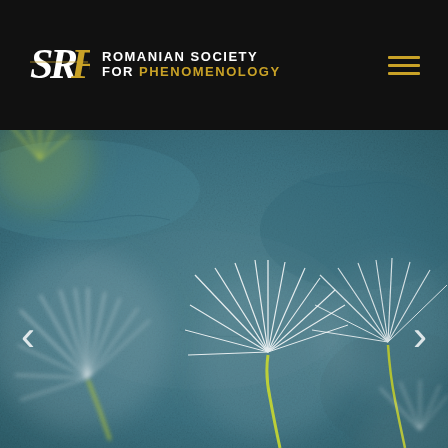Romanian Society for Phenomenology — navigation header with logo and hamburger menu
[Figure (photo): Close-up macro photograph of dandelion seeds (achenes) with delicate white filaments radiating outward against a teal/blue-grey textured background. Several dandelion seeds are visible with curved yellow-green stems. Navigation arrows (< and >) are overlaid on the left and right sides of the image as carousel controls.]